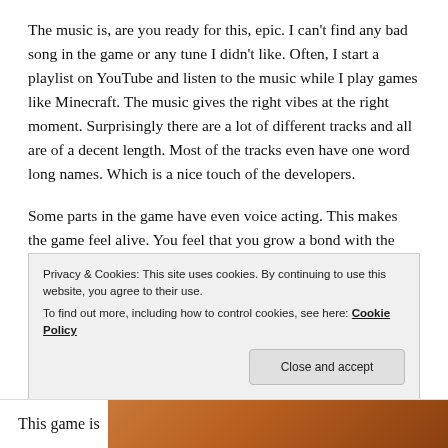The music is, are you ready for this, epic. I can't find any bad song in the game or any tune I didn't like. Often, I start a playlist on YouTube and listen to the music while I play games like Minecraft. The music gives the right vibes at the right moment. Surprisingly there are a lot of different tracks and all are of a decent length. Most of the tracks even have one word long names. Which is a nice touch of the developers.
Some parts in the game have even voice acting. This makes the game feel alive. You feel that you grow a bond with the characters and this makes you want to play
Privacy & Cookies: This site uses cookies. By continuing to use this website, you agree to their use.
To find out more, including how to control cookies, see here: Cookie Policy
Close and accept
This game is
[Figure (photo): Partial photo visible at bottom right corner of the page, showing warm orange/brown tones]